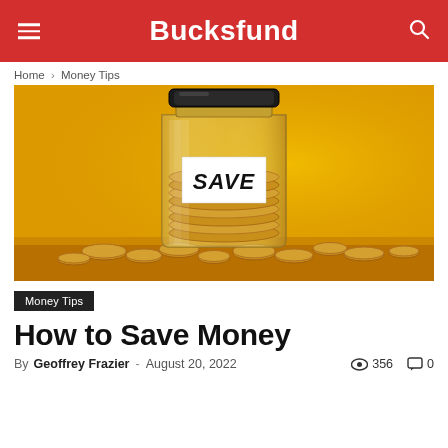Bucksfund
Home › Money Tips
[Figure (photo): A glass jar filled with coins and a white label reading 'SAVE' in handwritten text, surrounded by scattered coins on a yellow/golden background.]
Money Tips
How to Save Money
By Geoffrey Frazier - August 20, 2022  👁 356  💬 0